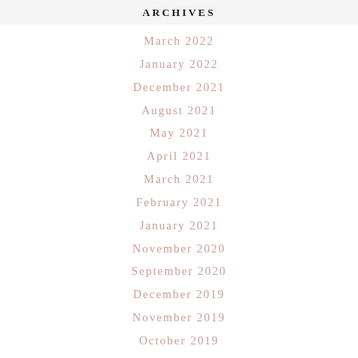ARCHIVES
March 2022
January 2022
December 2021
August 2021
May 2021
April 2021
March 2021
February 2021
January 2021
November 2020
September 2020
December 2019
November 2019
October 2019